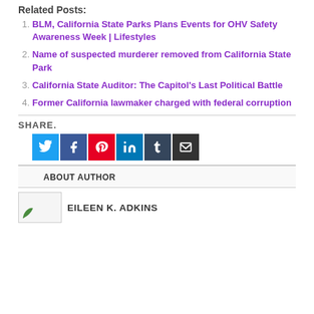Related Posts:
BLM, California State Parks Plans Events for OHV Safety Awareness Week | Lifestyles
Name of suspected murderer removed from California State Park
California State Auditor: The Capitol's Last Political Battle
Former California lawmaker charged with federal corruption
SHARE.
[Figure (infographic): Social share buttons: Twitter (blue), Facebook (dark blue), Pinterest (red), LinkedIn (blue), Tumblr (dark navy), Email (dark gray)]
ABOUT AUTHOR
[Figure (photo): Small author thumbnail image placeholder with a green leaf icon]
EILEEN K. ADKINS